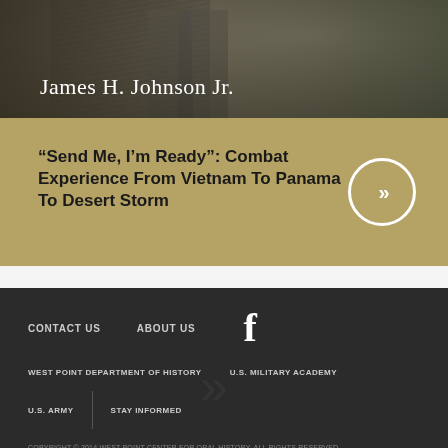[Figure (photo): Portrait photo of James H. Johnson Jr. in a dark suit with tie, name overlaid in white serif text]
“Send Me, I’m Ready”: Combat Experience From Vietnam To Panama To Desert Storm
CONTACT US   ABOUT US
WEST POINT DEPARTMENT OF HISTORY   U.S. MILITARY ACADEMY
U.S. ARMY   STAY INFORMED
COPYRIGHT © 2014 WEST POINT CENTER FOR ORAL HISTORY. ALL RIGHTS RESERVED.